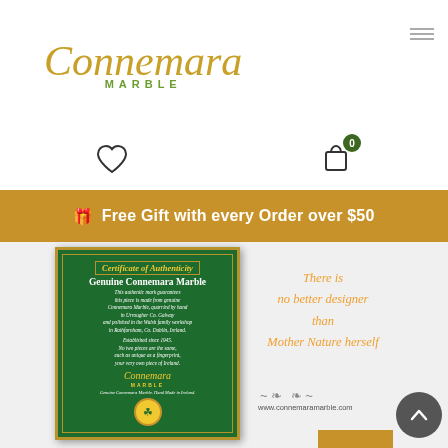[Figure (logo): Connemara Marble logo with gold cursive text and green MARBLE subtitle]
[Figure (infographic): Heart icon (wishlist) and shopping bag icon with 0 badge]
🎁 Free Gift with every Order over $50
[Figure (photo): Certificate of Authenticity for Genuine Connemara Marble on dark green background with gold border. Shows certificate text about quarrying in Connemara Co. Galway and polishing in Rathfarnham Co. Dublin. Established since 1945. Includes Connemara Marble logo and shamrock seal.]
There is no better designer than Mother Nature herself
www.connemaramarble.com